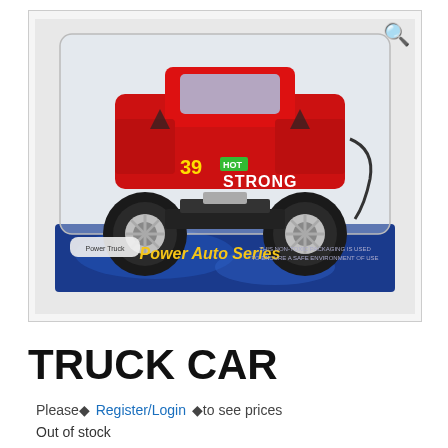[Figure (photo): A toy monster truck car in packaging — red truck body with '39 HOT STRONG' graphics on large black off-road wheels, displayed in clear plastic and blue cardboard box labeled 'Power Truck' and 'Power Auto Series'.]
TRUCK CAR
Please◆ Register/Login ◆to see prices
Out of stock